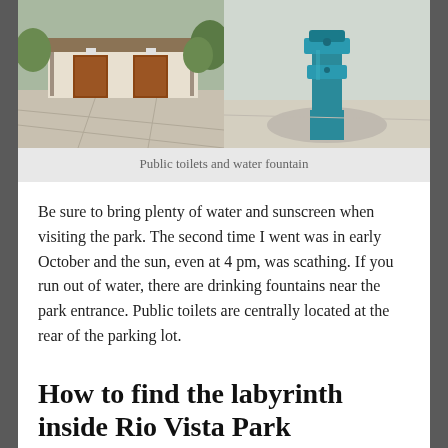[Figure (photo): Two side-by-side photos: left shows public restroom building with brown doors under a metal roof on a concrete pad; right shows a blue drinking water fountain]
Public toilets and water fountain
Be sure to bring plenty of water and sunscreen when visiting the park. The second time I went was in early October and the sun, even at 4 pm, was scathing. If you run out of water, there are drinking fountains near the park entrance. Public toilets are centrally located at the rear of the parking lot.
How to find the labyrinth inside Rio Vista Park